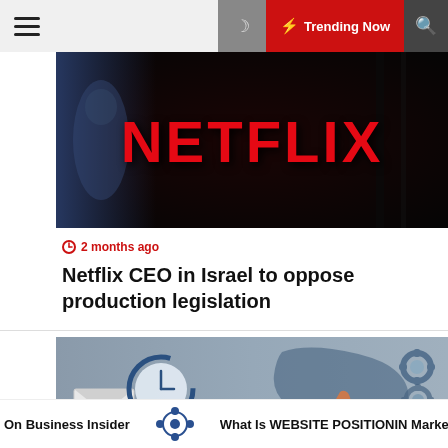Trending Now
[Figure (photo): Netflix logo sign on dark background with red NETFLIX text]
2 months ago
Netflix CEO in Israel to oppose production legislation
[Figure (infographic): Business/marketing infographic with clock, envelope, world map, gears, and network diagram icons on grey background]
On Business Insider
What Is WEBSITE POSITIONING Marketing And How Does It Wo